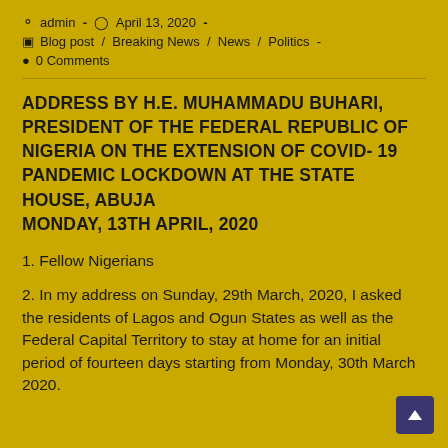admin · April 13, 2020 · Blog post / Breaking News / News / Politics · 0 Comments
ADDRESS BY H.E. MUHAMMADU BUHARI, PRESIDENT OF THE FEDERAL REPUBLIC OF NIGERIA ON THE EXTENSION OF COVID- 19 PANDEMIC LOCKDOWN AT THE STATE HOUSE, ABUJA
MONDAY, 13TH APRIL, 2020
1. Fellow Nigerians
2. In my address on Sunday, 29th March, 2020, I asked the residents of Lagos and Ogun States as well as the Federal Capital Territory to stay at home for an initial period of fourteen days starting from Monday, 30th March 2020.